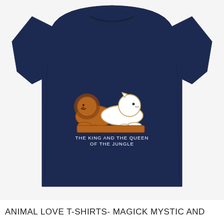[Figure (photo): A navy blue t-shirt with a graphic of two lions (one brown, one white outline) lying together, with the text 'THE KING AND THE QUEEN OF THE JUNGLE' printed below the graphic on the shirt.]
ANIMAL LOVE T-SHIRTS- MAGICK MYSTIC AND